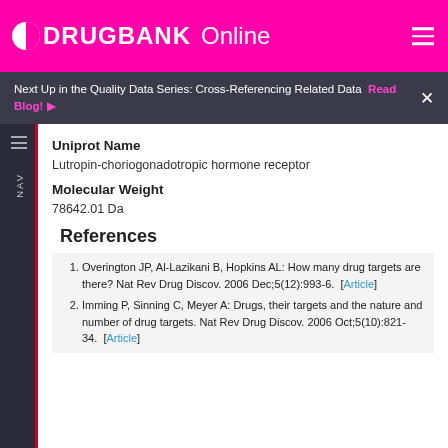DRUGBANK Online
Next Up in the Quality Data Series: Cross-Referencing Related Data  Read Blog!
Uniprot Name
Lutropin-choriogonadotropic hormone receptor
Molecular Weight
78642.01 Da
References
Overington JP, Al-Lazikani B, Hopkins AL: How many drug targets are there? Nat Rev Drug Discov. 2006 Dec;5(12):993-6. [Article]
Imming P, Sinning C, Meyer A: Drugs, their targets and the nature and number of drug targets. Nat Rev Drug Discov. 2006 Oct;5(10):821-34. [Article]